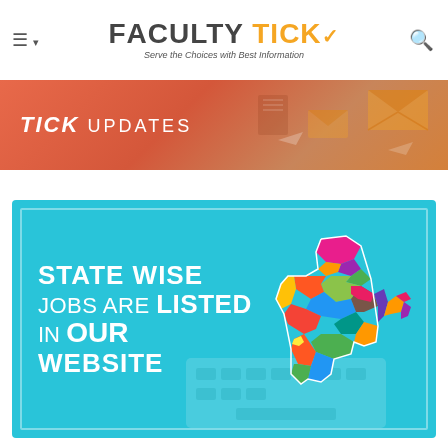FACULTY TICK — Serve the Choices with Best Information
[Figure (infographic): TICK UPDATES banner with orange/terracotta background and envelope/mail decorative elements]
[Figure (infographic): State Wise Jobs Are Listed In Our Website banner with cyan/teal background and colorful India map illustration]